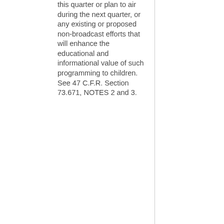this quarter or plan to air during the next quarter, or any existing or proposed non-broadcast efforts that will enhance the educational and informational value of such programming to children. See 47 C.F.R. Section 73.671, NOTES 2 and 3.